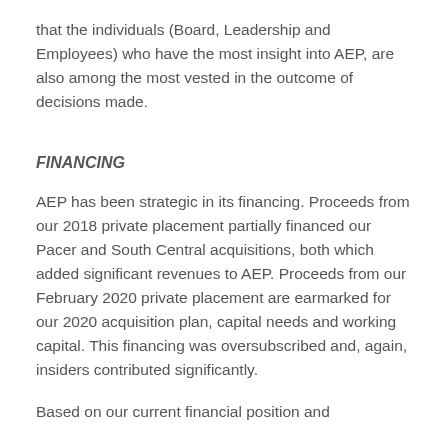that the individuals (Board, Leadership and Employees) who have the most insight into AEP, are also among the most vested in the outcome of decisions made.
FINANCING
AEP has been strategic in its financing. Proceeds from our 2018 private placement partially financed our Pacer and South Central acquisitions, both which added significant revenues to AEP. Proceeds from our February 2020 private placement are earmarked for our 2020 acquisition plan, capital needs and working capital. This financing was oversubscribed and, again, insiders contributed significantly.
Based on our current financial position and